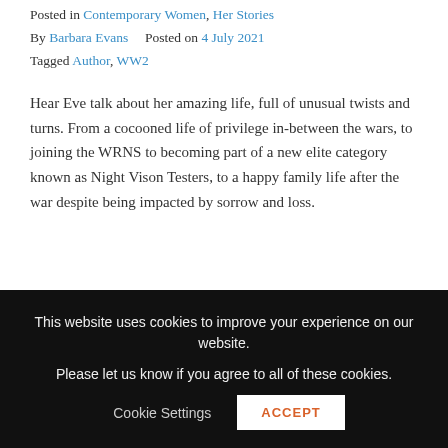Posted in Contemporary Women, Her Stories
By Barbara Evans    Posted on 4 July 2021
Tagged Author, WW2
Hear Eve talk about her amazing life, full of unusual twists and turns. From a cocooned life of privilege in-between the wars, to joining the WRNS to becoming part of a new elite category known as Night Vison Testers, to a happy family life after the war despite being impacted by sorrow and loss.
This website uses cookies to improve your experience on our website. Please let us know if you agree to all of these cookies.
Cookie Settings | ACCEPT